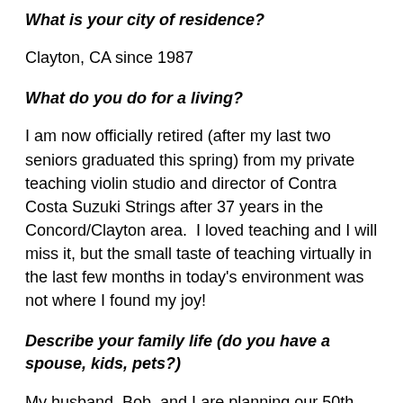What is your city of residence?
Clayton, CA since 1987
What do you do for a living?
I am now officially retired (after my last two seniors graduated this spring) from my private teaching violin studio and director of Contra Costa Suzuki Strings after 37 years in the Concord/Clayton area.  I loved teaching and I will miss it, but the small taste of teaching virtually in the last few months in today's environment was not where I found my joy!
Describe your family life (do you have a spouse, kids, pets?)
My husband, Bob, and I are planning our 50th anniversary celebration just 11 months away.  Our son, Brian, his wife